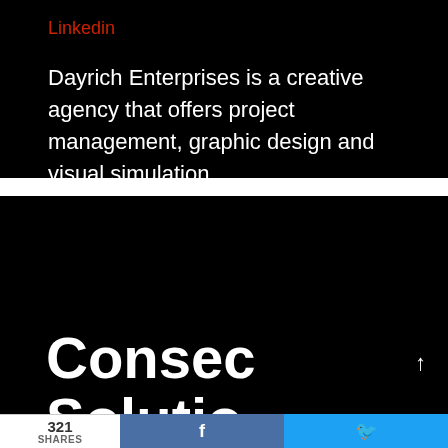Linkedin
Dayrich Enterprises is a creative agency that offers project management, graphic design and visual simulation.
Consec Solutions
321 SHARES  f  🐦